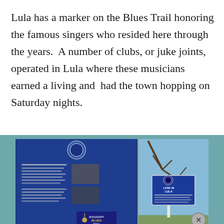Lula has a marker on the Blues Trail honoring the famous singers who resided here through the years.  A number of clubs, or juke joints, operated in Lula where these musicians earned a living and  had the town hopping on Saturday nights.
[Figure (photo): Two photos side-by-side: left photo shows a blue Mississippi Blues Trail informational marker sign with text and images; right photo shows a blue and white historical marker sign reading 'LIVIN' IN LULA' mounted on a post with trees in the background.]
Advertisements